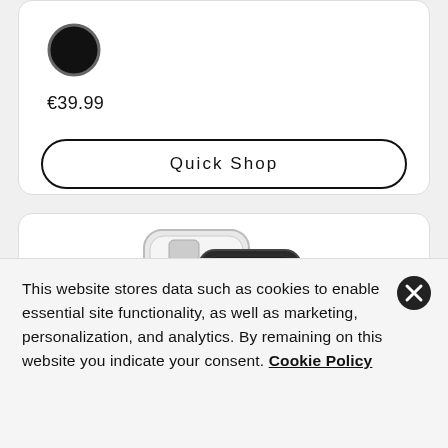[Figure (other): Black circular color swatch]
€39.99
Quick Shop
[Figure (photo): Two smartphone cases (clear and dark) shown overlapping]
This website stores data such as cookies to enable essential site functionality, as well as marketing, personalization, and analytics. By remaining on this website you indicate your consent. Cookie Policy